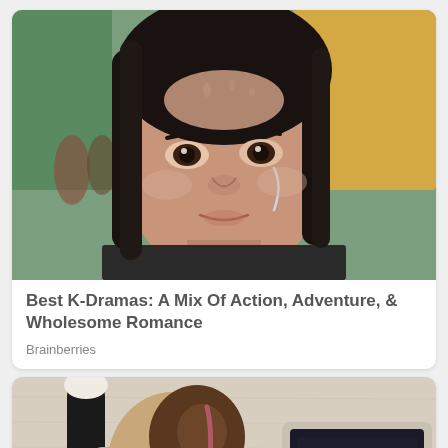[Figure (photo): Close-up of an Asian woman with a distressed, teary expression, wet face, dark hair, wearing a dark jacket. Background shows blurred outdoor scene with green and yellow elements.]
Best K-Dramas: A Mix Of Action, Adventure, & Wholesome Romance
Brainberries
[Figure (photo): Overhead/top-down view of a person with brown hair lying on a beige carpet, using a laptop computer. Person is wearing black pants and a tan/beige top.]